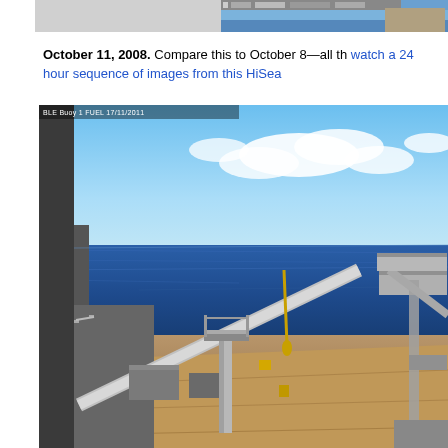[Figure (photo): Partial view of a ship deck or ocean scene, cropped at top of page]
October 11, 2008. Compare this to October 8—all th... watch a 24 hour sequence of images from this HiSea...
[Figure (photo): Ship deck view from a HiSeas camera showing ocean horizon, blue sky with clouds, and ship equipment including a crane/gantry arm. Timestamp overlay visible in upper left corner.]